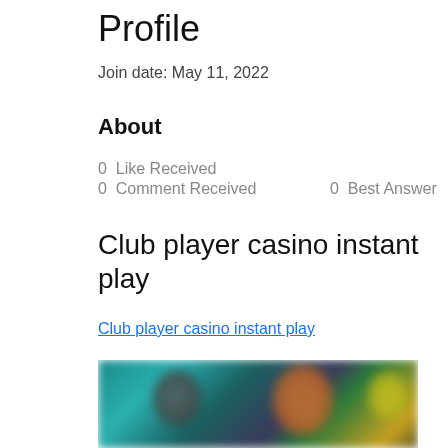Profile
Join date: May 11, 2022
About
0  Like Received
0  Comment Received     0  Best Answer
Club player casino instant play
Club player casino instant play
[Figure (photo): Blurred screenshot of a casino or gaming website showing people/characters in a colorful teal and green background]